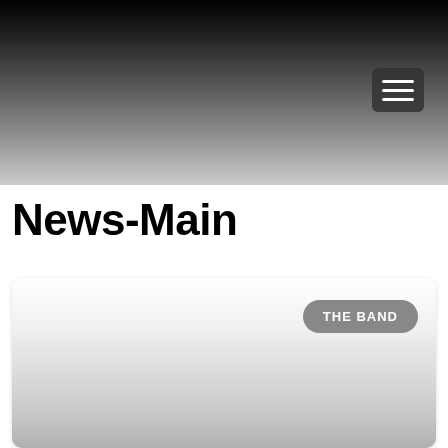[Figure (screenshot): Dark gradient header banner fading from black at top to light gray at bottom, with a hamburger menu icon (three white horizontal lines) in a dark rounded rectangle in the upper right area.]
News-Main
[Figure (screenshot): A white card area with a rounded rectangle button labeled 'THE BAND' in white text on a gray rounded pill background, positioned in the upper right of the card. The card fades to gray at the bottom.]